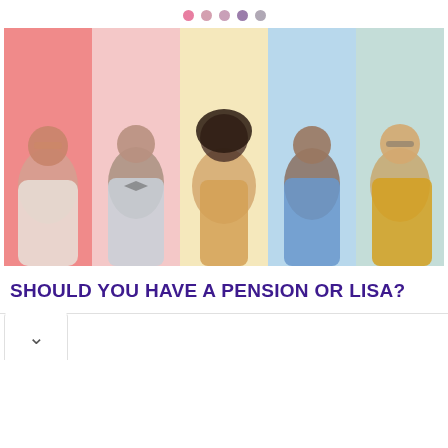[Figure (photo): Five people with thoughtful/questioning expressions posed against colorful vertical stripe backgrounds (pink, light pink, cream/yellow, light blue, light teal). From left to right: a woman with red hair and sunglasses resting her chin on her hand; a man with a beard and bow tie; a woman with natural hair touching her chin; a man in a blue shirt; a woman with glasses in a yellow jacket.]
SHOULD YOU HAVE A PENSION OR LISA?